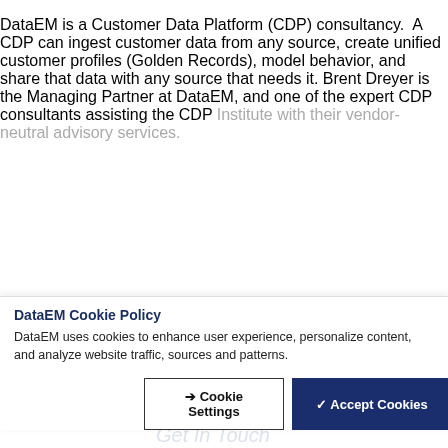DataEM is a Customer Data Platform (CDP) consultancy.  A CDP can ingest customer data from any source, create unified customer profiles (Golden Records), model behavior, and share that data with any source that needs it. Brent Dreyer is the Managing Partner at DataEM, and one of the expert CDP consultants assisting the CDP Institute with their vendor-neutral advisory services.
DataEM Cookie Policy
DataEM uses cookies to enhance user experience, personalize content, and analyze website traffic, sources and patterns.
Cookie Settings | Accept Cookies